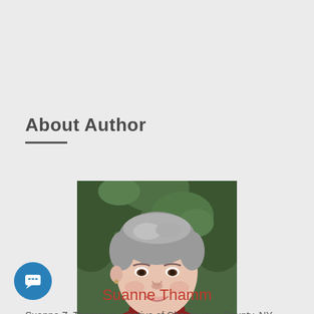About Author
[Figure (photo): Headshot of Suanne Thamm, a woman with short gray hair wearing a dark red top, with green foliage in the background.]
Suanne Thamm
Suanne Z. Thamm is a native of Chautauqua County, NY.